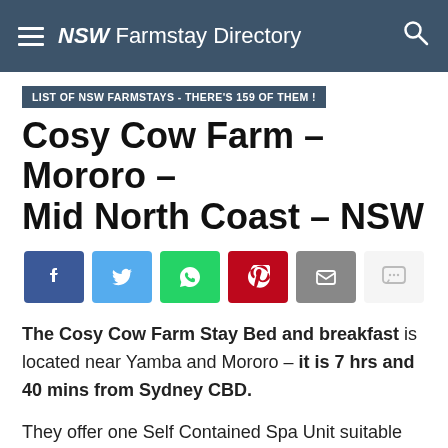NSW Farmstay Directory
LIST OF NSW FARMSTAYS - THERE'S 159 OF THEM !
Cosy Cow Farm – Mororo – Mid North Coast – NSW
[Figure (other): Social sharing buttons: Facebook, Twitter, WhatsApp, Pinterest, Email, Comment]
The Cosy Cow Farm Stay Bed and breakfast is located near Yamba and Mororo – it is 7 hrs and 40 mins from Sydney CBD.
They offer one Self Contained Spa Unit suitable for a couple.